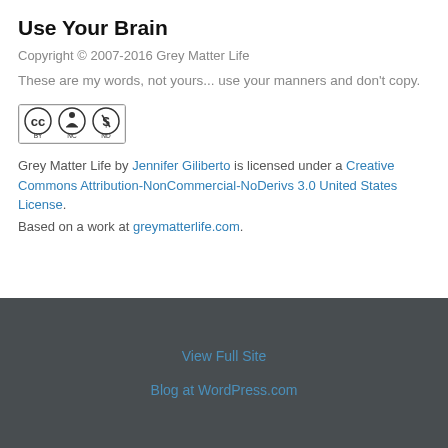Use Your Brain
Copyright © 2007-2016 Grey Matter Life
These are my words, not yours... use your manners and don't copy.
[Figure (logo): Creative Commons BY NC ND license badge]
Grey Matter Life by Jennifer Giliberto is licensed under a Creative Commons Attribution-NonCommercial-NoDerivs 3.0 United States License. Based on a work at greymatterlife.com.
View Full Site
Blog at WordPress.com